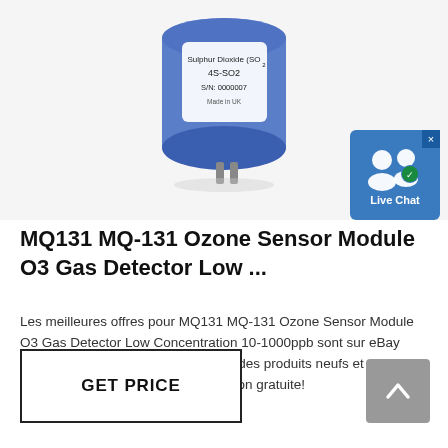[Figure (photo): A blue cylindrical gas sensor module labeled 'Sulphur Dioxide (SO2)', '4S-SO2', 'S/N: 0000007', 'Made in UK' on a white/light gray background]
[Figure (other): Live Chat widget badge — blue square with white people/chat icons and text 'Live Chat', with X close button in top-right corner]
MQ131 MQ-131 Ozone Sensor Module O3 Gas Detector Low ...
Les meilleures offres pour MQ131 MQ-131 Ozone Sensor Module O3 Gas Detector Low Concentration 10-1000ppb sont sur eBay Comparez les prix et les spécificités des produits neufs et d'occasion Pleins d'articles en livraison gratuite!
[Figure (other): GET PRICE button — rectangular button with dark border and bold text 'GET PRICE']
[Figure (other): Scroll-to-top button — gray square button with upward chevron arrow]